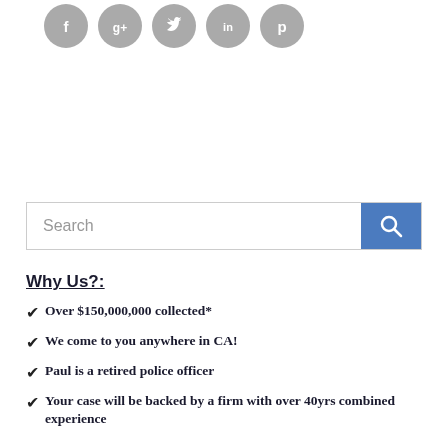[Figure (other): Row of five circular social media icons (Facebook, Google+, Twitter, LinkedIn, Pinterest) in grey]
[Figure (other): Search bar with text 'Search' and a blue search button with magnifying glass icon]
Why Us?:
Over $150,000,000 collected*
We come to you anywhere in CA!
Paul is a retired police officer
Your case will be backed by a firm with over 40yrs combined experience